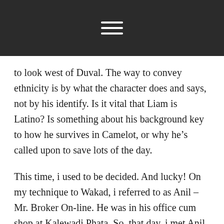to look west of Duval. The way to convey ethnicity is by what the character does and says, not by his identify. Is it vital that Liam is Latino? Is something about his background key to how he survives in Camelot, or why he’s called upon to save lots of the day.
This time, i used to be decided. And lucky! On my technique to Wakad, i referred to as Anil – Mr. Broker On-line. He was in his office cum shop at Kalewadi Phata. So, that day, i met Anil, Usha – his wife and Shravan – his 2 12 months previous son. The most recent release of the S&P Core Logic Case-Shiller (CSI) home value indices for May reported